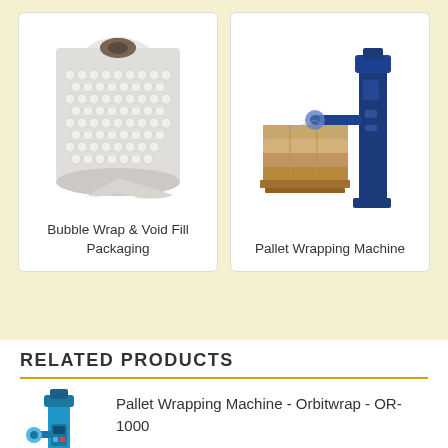[Figure (photo): Bubble wrap roll product image]
Bubble Wrap & Void Fill Packaging
[Figure (photo): Pallet wrapping machine with pallet]
Pallet Wrapping Machine
RELATED PRODUCTS
[Figure (photo): Blue pallet wrapping machine - Orbitwrap OR-1000]
Pallet Wrapping Machine - Orbitwrap - OR-1000